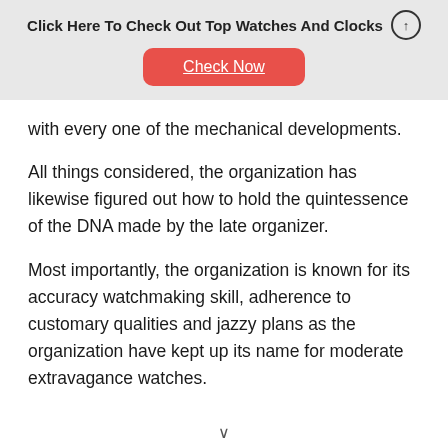Click Here To Check Out Top Watches And Clocks
Check Now
with every one of the mechanical developments.
All things considered, the organization has likewise figured out how to hold the quintessence of the DNA made by the late organizer.
Most importantly, the organization is known for its accuracy watchmaking skill, adherence to customary qualities and jazzy plans as the organization have kept up its name for moderate extravagance watches.